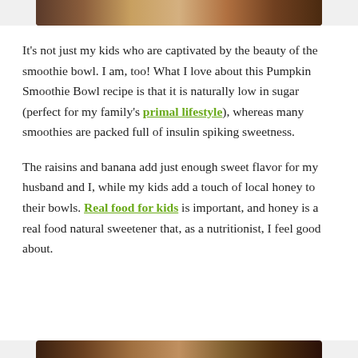[Figure (photo): Partial photo of a smoothie bowl visible at the top of the page, cropped]
It's not just my kids who are captivated by the beauty of the smoothie bowl. I am, too! What I love about this Pumpkin Smoothie Bowl recipe is that it is naturally low in sugar (perfect for my family's primal lifestyle), whereas many smoothies are packed full of insulin spiking sweetness.
The raisins and banana add just enough sweet flavor for my husband and I, while my kids add a touch of local honey to their bowls. Real food for kids is important, and honey is a real food natural sweetener that, as a nutritionist, I feel good about.
[Figure (photo): Partial photo visible at the bottom of the page, cropped]